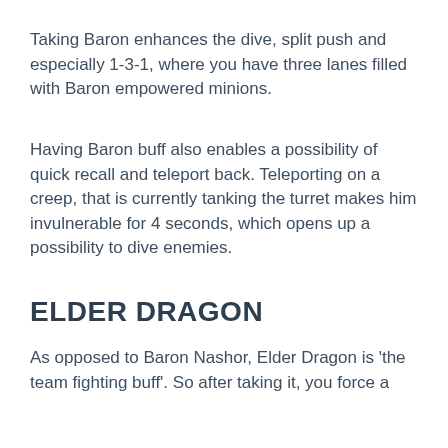Taking Baron enhances the dive, split push and especially 1-3-1, where you have three lanes filled with Baron empowered minions.
Having Baron buff also enables a possibility of quick recall and teleport back. Teleporting on a creep, that is currently tanking the turret makes him invulnerable for 4 seconds, which opens up a possibility to dive enemies.
ELDER DRAGON
As opposed to Baron Nashor, Elder Dragon is 'the team fighting buff'. So after taking it, you force a